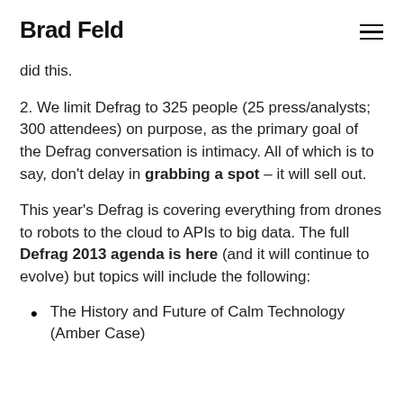Brad Feld
did this.
2. We limit Defrag to 325 people (25 press/analysts; 300 attendees) on purpose, as the primary goal of the Defrag conversation is intimacy. All of which is to say, don't delay in grabbing a spot – it will sell out.
This year's Defrag is covering everything from drones to robots to the cloud to APIs to big data. The full Defrag 2013 agenda is here (and it will continue to evolve) but topics will include the following:
The History and Future of Calm Technology (Amber Case)